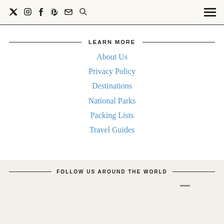Social icons: Twitter, Instagram, Facebook, Pinterest, Email, Search | Hamburger menu
LEARN MORE
About Us
Privacy Policy
Destinations
National Parks
Packing Lists
Travel Guides
FOLLOW US AROUND THE WORLD